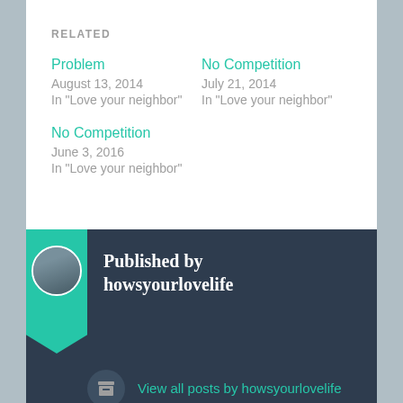RELATED
Problem
August 13, 2014
In "Love your neighbor"
No Competition
July 21, 2014
In "Love your neighbor"
No Competition
June 3, 2016
In "Love your neighbor"
Published by howsyourlovelife
View all posts by howsyourlovelife